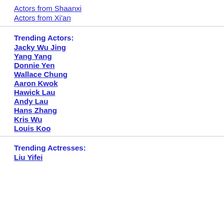Actors from Shaanxi
Actors from Xi'an
Trending Actors:
Jacky Wu Jing
Yang Yang
Donnie Yen
Wallace Chung
Aaron Kwok
Hawick Lau
Andy Lau
Hans Zhang
Kris Wu
Louis Koo
Trending Actresses:
Liu Yifei